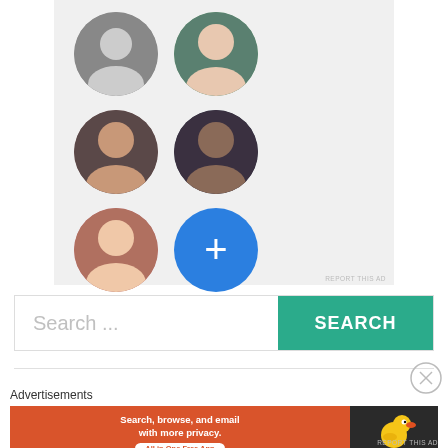[Figure (screenshot): App UI showing a grid of 5 circular profile photo avatars (2 columns, 3 rows) and a blue '+' button, on a light gray background panel]
REPORT THIS AD
[Figure (screenshot): Search bar with placeholder text 'Search ...' and a teal SEARCH button on the right]
[Figure (screenshot): Close/X circle button]
Advertisements
[Figure (screenshot): DuckDuckGo advertisement banner: 'Search, browse, and email with more privacy. All in One Free App' on orange background with DuckDuckGo duck logo on dark background]
REPORT THIS AD